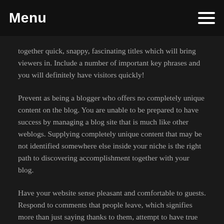Menu
together quick, snappy, fascinating titles which will bring viewers in. Include a number of important key phrases and you will definitely have visitors quickly!
Prevent as being a blogger who offers no completely unique content on the blog. You are unable to be prepared to have success by managing a blog site that is much like other weblogs. Supplying completely unique content that may be not identified somewhere else inside your niche is the right path to discovering accomplishment together with your blog.
Have your website sense pleasant and comfortable to guests. Respond to comments that people leave, which signifies more than just saying thanks to them, attempt to have true interactions. When you can develop a romantic relationship along with your viewers, they will tend to be more faithful to you, and keep coming back.